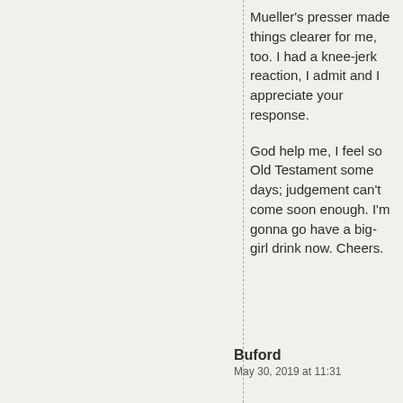Mueller's presser made things clearer for me, too. I had a knee-jerk reaction, I admit and I appreciate your response.

God help me, I feel so Old Testament some days; judgement can't come soon enough. I'm gonna go have a big-girl drink now. Cheers.
Buford
May 30, 2019 at 11:31